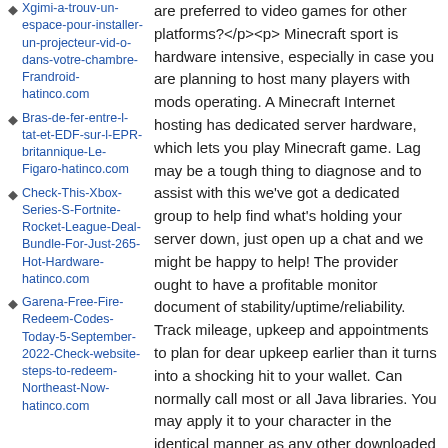Xgimi-a-trouv-un-espace-pour-installer-un-projecteur-vid-o-dans-votre-chambre-Frandroid-hatinco.com
Bras-de-fer-entre-l-tat-et-EDF-sur-l-EPR-britannique-Le-Figaro-hatinco.com
Check-This-Xbox-Series-S-Fortnite-Rocket-League-Deal-Bundle-For-Just-265-Hot-Hardware-hatinco.com
Garena-Free-Fire-Redeem-Codes-Today-5-September-2022-Check-website-steps-to-redeem-Northeast-Now-hatinco.com
are preferred to video games for other platforms?</p><p> Minecraft sport is hardware intensive, especially in case you are planning to host many players with mods operating. A Minecraft Internet hosting has dedicated server hardware, which lets you play Minecraft game. Lag may be a tough thing to diagnose and to assist with this we've got a dedicated group to help find what's holding your server down, just open up a chat and we might be happy to help! The provider ought to have a profitable monitor document of stability/uptime/reliability. Track mileage, upkeep and appointments to plan for dear upkeep earlier than it turns into a shocking hit to your wallet. Can normally call most or all Java libraries. You may apply it to your character in the identical manner as any other downloaded skin. Minecraft mods have been offering loss of life chests and other variants of the same concept for years now, but few do it as stylishly as Corail Tombstone, which heaps all your